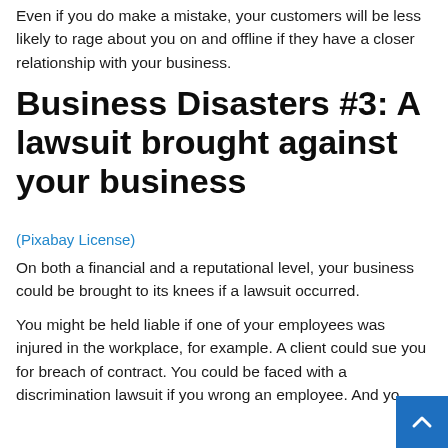Even if you do make a mistake, your customers will be less likely to rage about you on and offline if they have a closer relationship with your business.
Business Disasters #3: A lawsuit brought against your business
(Pixabay License)
On both a financial and a reputational level, your business could be brought to its knees if a lawsuit occurred.
You might be held liable if one of your employees was injured in the workplace, for example. A client could sue you for breach of contract. You could be faced with a discrimination lawsuit if you wrong an employee. And yo